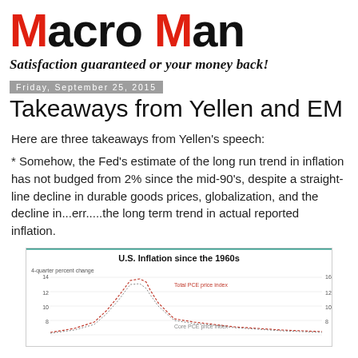Macro Man
Satisfaction guaranteed or your money back!
Friday, September 25, 2015
Takeaways from Yellen and EM
Here are three takeaways from Yellen's speech:
* Somehow, the Fed's estimate of the long run trend in inflation has not budged from 2% since the mid-90's, despite a straight-line decline in durable goods prices, globalization, and the decline in...err.....the long term trend in actual reported inflation.
[Figure (line-chart): Line chart showing U.S. inflation (4-quarter percent change) since the 1960s, with lines for Total PCE price index and Core PCE price index. The chart shows a peak around late 1970s/early 1980s reaching about 12-14%, then declining trend through 2015.]